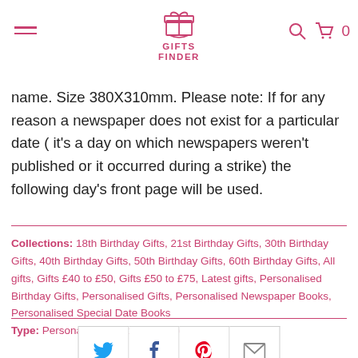Gifts Finder — navigation header with logo, hamburger menu, search icon, cart (0)
name. Size 380X310mm. Please note: If for any reason a newspaper does not exist for a particular date ( it's a day on which newspapers weren't published or it occurred during a strike) the following day's front page will be used.
Collections: 18th Birthday Gifts, 21st Birthday Gifts, 30th Birthday Gifts, 40th Birthday Gifts, 50th Birthday Gifts, 60th Birthday Gifts, All gifts, Gifts £40 to £50, Gifts £50 to £75, Latest gifts, Personalised Birthday Gifts, Personalised Gifts, Personalised Newspaper Books, Personalised Special Date Books
Type: Personalised Special Date Books
[Figure (other): Social share buttons: Twitter, Facebook, Pinterest, Email]